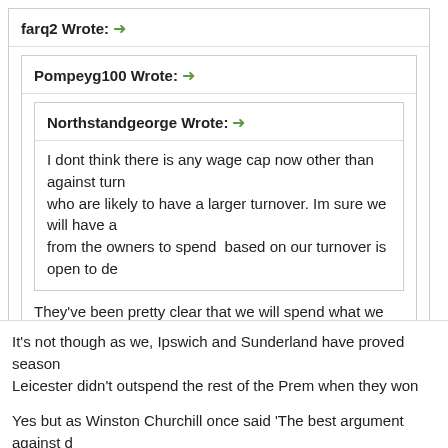farq2 Wrote: →
Pompeyg100 Wrote: →
Northstandgeorge Wrote: →
I dont think there is any wage cap now other than against turn who are likely to have a larger turnover. Im sure we will have a from the owners to spend  based on our turnover is open to de
They've been pretty clear that we will spend what we can afford spent a fortune on wages last year and failed as we did under K
unfortunately in general it is, as in life you get what you pay for.
It's not though as we, Ipswich and Sunderland have proved season Leicester didn't outspend the rest of the Prem when they won the ti
Yes but as Winston Churchill once said 'The best argument against d